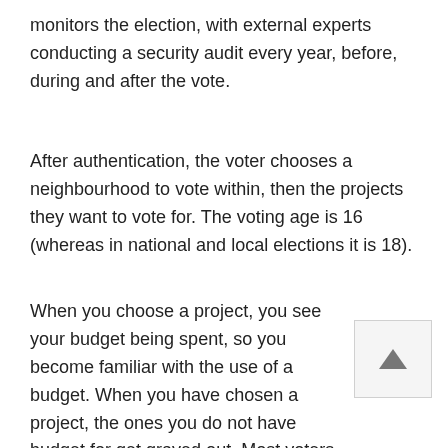monitors the election, with external experts conducting a security audit every year, before, during and after the vote.
After authentication, the voter chooses a neighbourhood to vote within, then the projects they want to vote for. The voting age is 16 (whereas in national and local elections it is 18).
When you choose a project, you see your budget being spent, so you become familiar with the use of a budget. When you have chosen a project, the ones you do not have budget for get grayed out. Most voters utilize as much of their budget as they can.